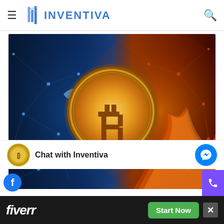INVENTIVA
[Figure (photo): Bitcoin coin in center with fire on the right side and water/ice splash on the left side, against a dark blue blockchain network background on the left and dark red/orange on the right]
Chat with Inventiva
[Figure (infographic): Fiverr advertisement banner with 'fiverr' logo in white italic text on dark background and green 'Start Now' button, with close X button]